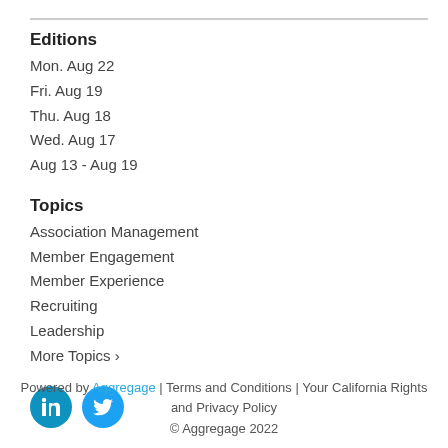Editions
Mon. Aug 22
Fri. Aug 19
Thu. Aug 18
Wed. Aug 17
Aug 13 - Aug 19
Topics
Association Management
Member Engagement
Member Experience
Recruiting
Leadership
More Topics >
[Figure (logo): LinkedIn and Twitter social media icons (blue circles with white logos)]
Powered by Aggregage | Terms and Conditions | Your California Rights and Privacy Policy
© Aggregage 2022